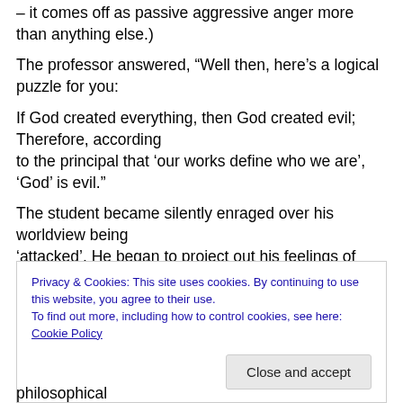– it comes off as passive aggressive anger more than anything else.)
The professor answered, “Well then, here’s a logical puzzle for you:
If God created everything, then God created evil; Therefore, according to the principal that ‘our works define who we are’, ‘God’ is evil.”
The student became silently enraged over his worldview being ‘attacked’. He began to project out his feelings of
Privacy & Cookies: This site uses cookies. By continuing to use this website, you agree to their use. To find out more, including how to control cookies, see here: Cookie Policy
philosophical